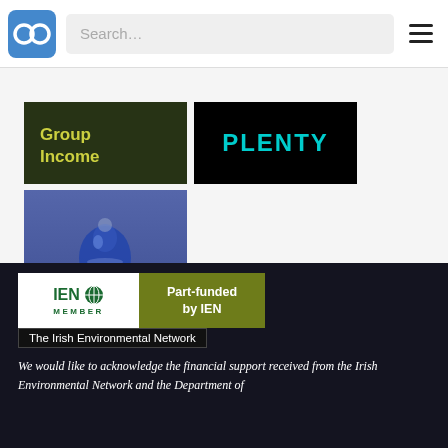Search…
[Figure (screenshot): Thumbnail image showing 'Group Income' text on dark background]
[Figure (screenshot): Thumbnail image showing 'PLENTY' text in cyan on black background]
[Figure (photo): Water Commons image showing a water droplet over blue background with text 'Water Commons']
[Figure (logo): IEN Member badge and Part-funded by IEN badge side by side, with 'The Irish Environmental Network' label below]
We would like to acknowledge the financial support received from the Irish Environmental Network and the Department of Community, Climate Action and Environ…